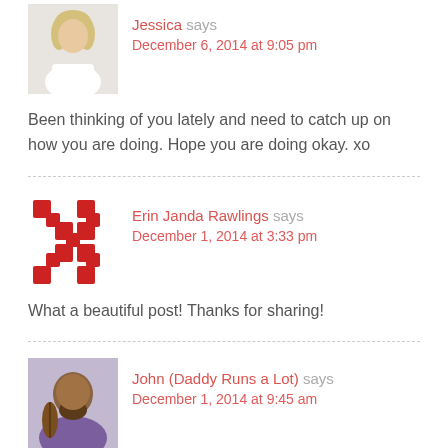[Figure (photo): Avatar photo of Jessica, a woman with blonde hair]
Jessica says
December 6, 2014 at 9:05 pm
Been thinking of you lately and need to catch up on how you are doing. Hope you are doing okay. xo
[Figure (logo): Red pixel/grid pattern avatar for Erin Janda Rawlings]
Erin Janda Rawlings says
December 1, 2014 at 3:33 pm
What a beautiful post! Thanks for sharing!
[Figure (photo): Avatar photo of John (Daddy Runs a Lot), a man in a purple shirt holding a cello]
John (Daddy Runs a Lot) says
December 1, 2014 at 9:45 am
Isn't it funny how an outpouring of love manages to